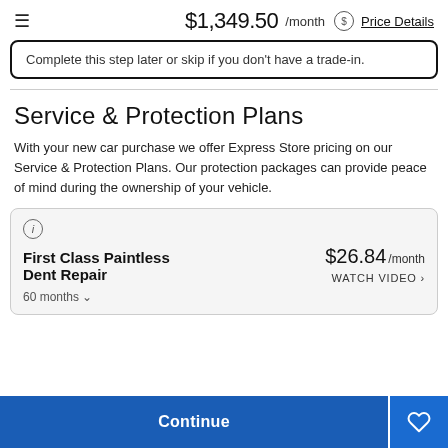$1,349.50 /month  Price Details
Complete this step later or skip if you don't have a trade-in.
Service & Protection Plans
With your new car purchase we offer Express Store pricing on our Service & Protection Plans. Our protection packages can provide peace of mind during the ownership of your vehicle.
First Class Paintless Dent Repair  $26.84 /month  WATCH VIDEO >  60 months
Continue